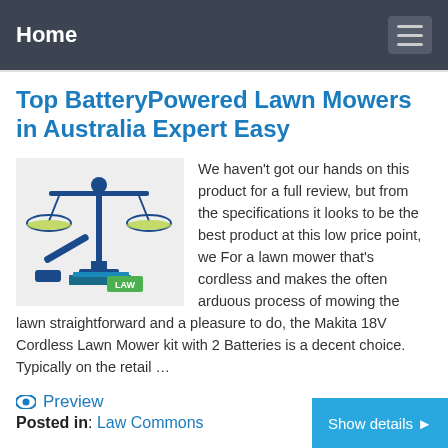Home
Top BatteryPowered Lawn Mowers in Australia Expert Easy
[Figure (illustration): Scales of justice with law books and gavel illustration with 'LAW' text]
We haven't got our hands on this product for a full review, but from the specifications it looks to be the best product at this low price point, we For a lawn mower that's cordless and makes the often arduous process of mowing the lawn straightforward and a pleasure to do, the Makita 18V Cordless Lawn Mower kit with 2 Batteries is a decent choice. Typically on the retail …
Preview
Posted in: Law Commons
Show details ▶